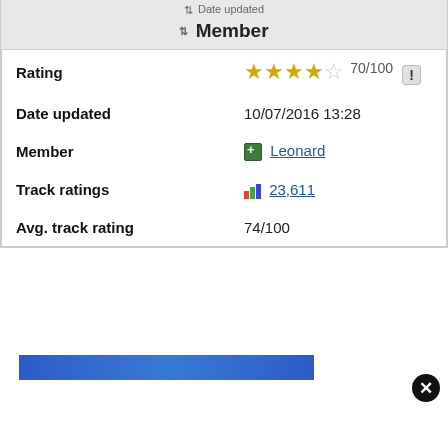Date updated | Member
| Field | Value |
| --- | --- |
| Rating | ★★★½☆ 70/100 ! |
| Date updated | 10/07/2016 13:28 |
| Member | Leonard |
| Track ratings | 23,611 |
| Avg. track rating | 74/100 |
[Figure (screenshot): Blue banner advertisement partially visible at bottom of page]
[Figure (other): Close/dismiss button (black circle with X) at bottom right]